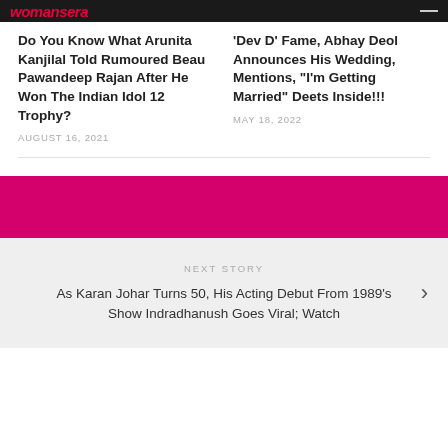womansera
Do You Know What Arunita Kanjilal Told Rumoured Beau Pawandeep Rajan After He Won The Indian Idol 12 Trophy?
AUGUST 16, 2021
‘Dev D’ Fame, Abhay Deol Announces His Wedding, Mentions, “I’m Getting Married” Deets Inside!!!
MAY 18, 2022
[Figure (other): Pink/magenta banner section]
NEXT STORY
As Karan Johar Turns 50, His Acting Debut From 1989’s Show Indradhanush Goes Viral; Watch